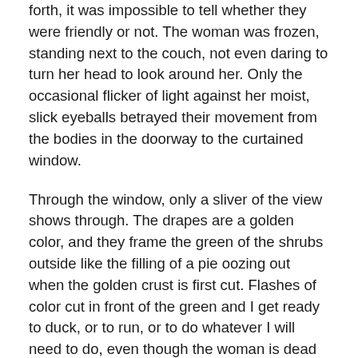forth, it was impossible to tell whether they were friendly or not. The woman was frozen, standing next to the couch, not even daring to turn her head to look around her. Only the occasional flicker of light against her moist, slick eyeballs betrayed their movement from the bodies in the doorway to the curtained window.
Through the window, only a sliver of the view shows through. The drapes are a golden color, and they frame the green of the shrubs outside like the filling of a pie oozing out when the golden crust is first cut. Flashes of color cut in front of the green and I get ready to duck, or to run, or to do whatever I will need to do, even though the woman is dead and I'm not sure that if someone I don't know comes through that door I'll know whether they're friendly or not. Something nags at the back of my mind. Those things in the doorway. I can't even call them